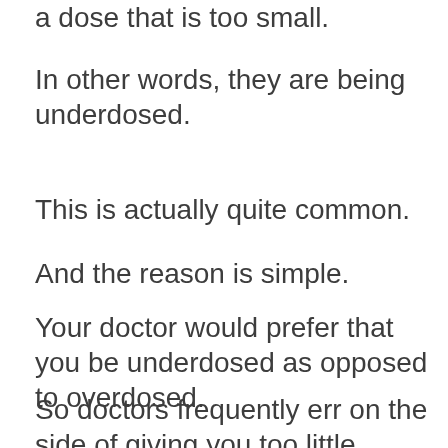a dose that is too small.
In other words, they are being underdosed.
This is actually quite common.
And the reason is simple.
Your doctor would prefer that you be underdosed as opposed to overdosed.
So doctors frequently err on the side of giving you too little levothyroxine.